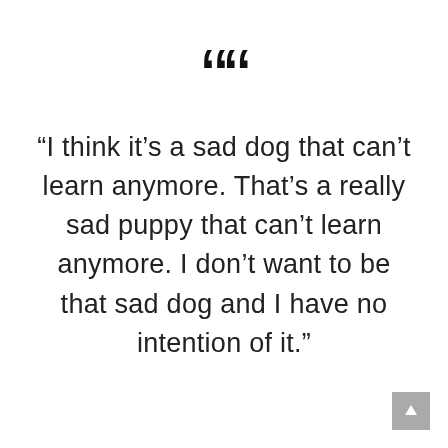[Figure (illustration): Large decorative opening double quotation mark symbol in bold black]
“I think it’s a sad dog that can’t learn anymore. That’s a really sad puppy that can’t learn anymore. I don’t want to be that sad dog and I have no intention of it.”